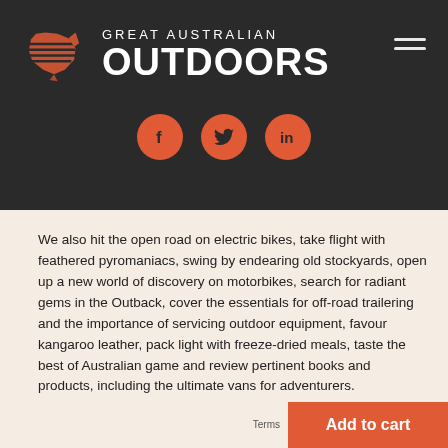[Figure (logo): Great Australian Outdoors logo with stylized red/orange Australia map silhouette and text 'GREAT AUSTRALIAN OUTDOORS' on dark background]
[Figure (infographic): Three orange circular social media icons: Facebook (f), Twitter (bird), LinkedIn (in)]
We also hit the open road on electric bikes, take flight with feathered pyromaniacs, swing by endearing old stockyards, open up a new world of discovery on motorbikes, search for radiant gems in the Outback, cover the essentials for off-road trailering and the importance of servicing outdoor equipment, favour kangaroo leather, pack light with freeze-dried meals, taste the best of Australian game and review pertinent books and products, including the ultimate vans for adventurers.